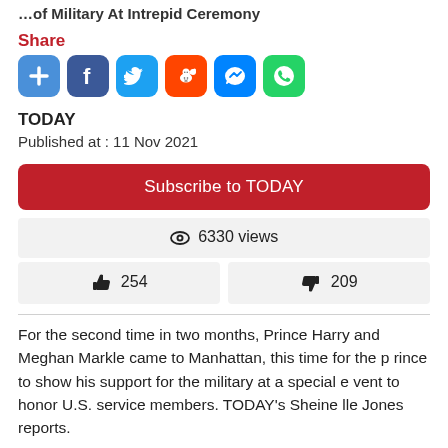…of Military At Intrepid Ceremony
Share
[Figure (infographic): Social share buttons: plus/add, Facebook, Twitter, Reddit, Messenger, WhatsApp]
TODAY
Published at : 11 Nov 2021
Subscribe to TODAY
👁 6330 views
👍 254   👎 209
For the second time in two months, Prince Harry and Meghan Markle came to Manhattan, this time for the prince to show his support for the military at a special event to honor U.S. service members. TODAY's Sheinelle Jones reports.